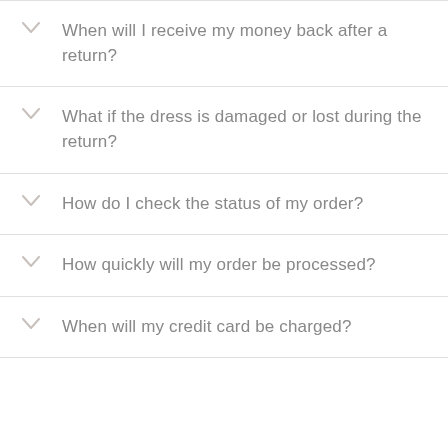When will I receive my money back after a return?
What if the dress is damaged or lost during the return?
How do I check the status of my order?
How quickly will my order be processed?
When will my credit card be charged?